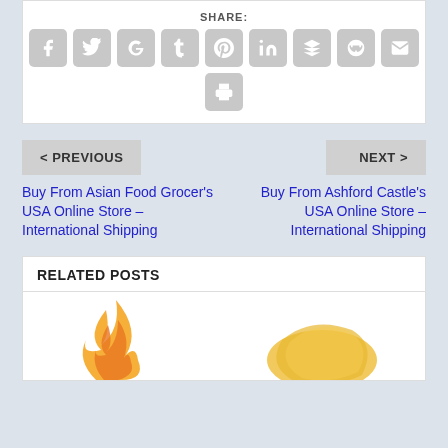[Figure (other): Share buttons: Facebook, Twitter, Google+, Tumblr, Pinterest, LinkedIn, Buffer, StumbleUpon, Email, Print]
< PREVIOUS
NEXT >
Buy From Asian Food Grocer's USA Online Store – International Shipping
Buy From Ashford Castle's USA Online Store – International Shipping
RELATED POSTS
[Figure (photo): Partial orange/yellow decorative food images at bottom]